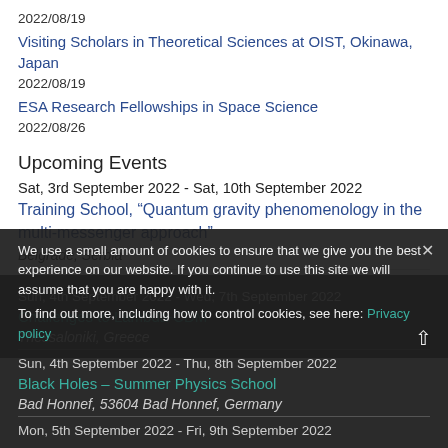2022/08/19
Visiting Scholars in Theoretical Sciences at OIST, Okinawa, Japan
2022/08/19
ESA Research Fellowships in Space Science
2022/08/26
Upcoming Events
Sat, 3rd September 2022  -  Sat, 10th September 2022
Training School, “Quantum gravity phenomenology in the multi-messenger approach”
Belgrade, Serbia
Sun, 4th September 2022  -  Wed, 7th September 2022
Challenges to Lambda-CDM
Thessaloniki, Greece
Sun, 4th September 2022  -  Thu, 8th September 2022
Black Holes – Summer Physics School
Bad Honnef, 53604 Bad Honnef, Germany
Mon, 5th September 2022  -  Fri, 9th September 2022
We use a small amount of cookies to ensure that we give you the best experience on our website. If you continue to use this site we will assume that you are happy with it.
To find out more, including how to control cookies, see here: Privacy policy